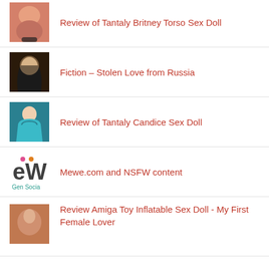Review of Tantaly Britney Torso Sex Doll
Fiction – Stolen Love from Russia
Review of Tantaly Candice Sex Doll
Mewe.com and NSFW content
Review Amiga Toy Inflatable Sex Doll - My First Female Lover
[Figure (logo): Ko-fi coffee cup button in teal/green]
BLOG ROLL
May More
Raspberry Ripples (partial)